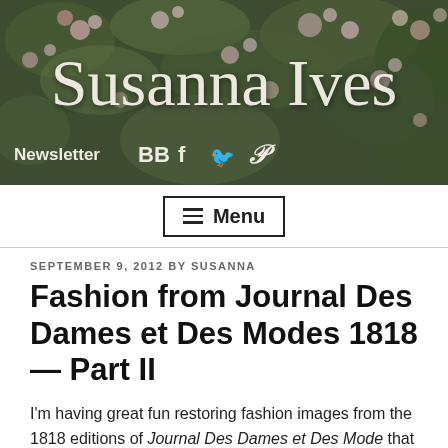[Figure (photo): Floral header banner with dark green/brown background and flowers; displays blog title 'Susanna Ives' in script font with navigation icons: Newsletter, BB, f (Facebook), Twitter bird, Pinterest]
☰ Menu
SEPTEMBER 9, 2012 BY SUSANNA
Fashion from Journal Des Dames et Des Modes 1818 — Part II
I'm having great fun restoring fashion images from the 1818 editions of Journal Des Dames et Des Mode that I found in the library of France. I should have more pictures ready to post tomorrow or the next day.